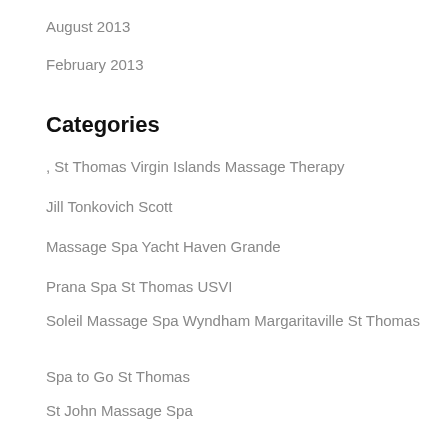August 2013
February 2013
Categories
, St Thomas Virgin Islands Massage Therapy
Jill Tonkovich Scott
Massage Spa Yacht Haven Grande
Prana Spa St Thomas USVI
Soleil Massage Spa Wyndham Margaritaville St Thomas
Spa to Go St Thomas
St John Massage Spa
St Thomas Colon Hydrotherapy
St Thomas Colonics
St Thomas Massage Spa